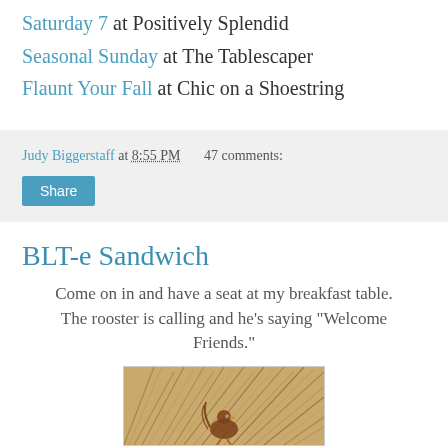Saturday 7 at Positively Splendid
Seasonal Sunday at The Tablescaper
Flaunt Your Fall at Chic on a Shoestring
Judy Biggerstaff at 8:55 PM   47 comments:
Share
BLT-e Sandwich
Come on in and have a seat at my breakfast table. The rooster is calling and he's saying "Welcome Friends."
[Figure (photo): Photo of a rooster or bird among dry grass/reeds, partially visible at bottom of page]